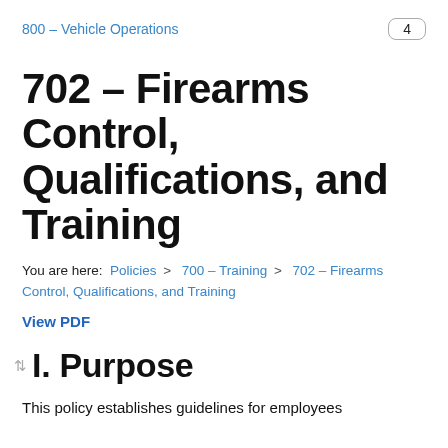800 – Vehicle Operations    4
702 – Firearms Control, Qualifications, and Training
You are here:  Policies  >  700 – Training  >  702 – Firearms Control, Qualifications, and Training
View PDF
I. Purpose
This policy establishes guidelines for employees